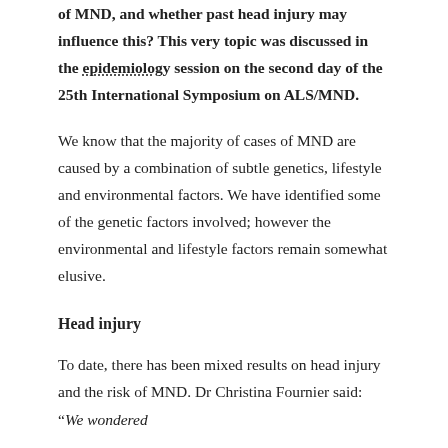of MND, and whether past head injury may influence this? This very topic was discussed in the epidemiology session on the second day of the 25th International Symposium on ALS/MND.
We know that the majority of cases of MND are caused by a combination of subtle genetics, lifestyle and environmental factors. We have identified some of the genetic factors involved; however the environmental and lifestyle factors remain somewhat elusive.
Head injury
To date, there has been mixed results on head injury and the risk of MND. Dr Christina Fournier said: “We wondered